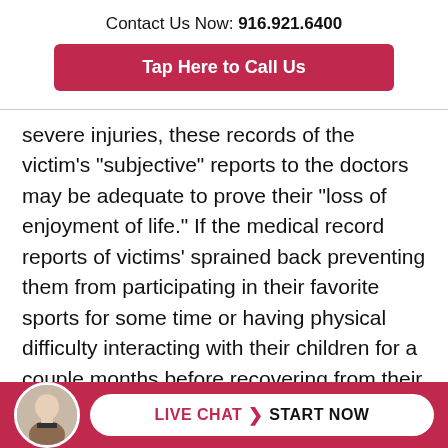Contact Us Now: 916.921.6400
Tap Here to Call Us
severe injuries, these records of the victim's "subjective" reports to the doctors may be adequate to prove their "loss of enjoyment of life." If the medical record reports of victims' sprained back preventing them from participating in their favorite sports for some time or having physical difficulty interacting with their children for a couple months before recovering from their injuries, then this type of evidence may be sufficient.  With more severe injuries, however, and especially with
LIVE CHAT  START NOW